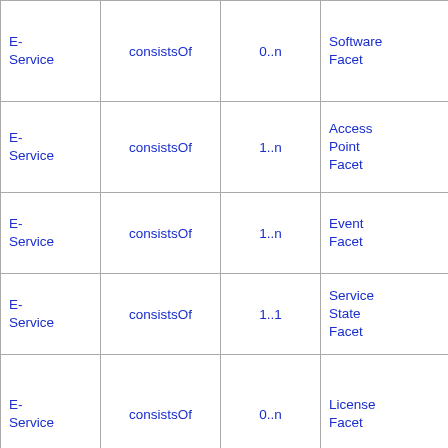|  |  |  |  |
| --- | --- | --- | --- |
| E-Service | consistsOf | 0..n | Software Facet |
| E-Service | consistsOf | 1..n | Access Point Facet |
| E-Service | consistsOf | 1..n | Event Facet |
| E-Service | consistsOf | 1..1 | Service State Facet |
| E-Service | consistsOf | 0..n | License Facet |
| Resources |  |  |  |
|  |  |  |  |